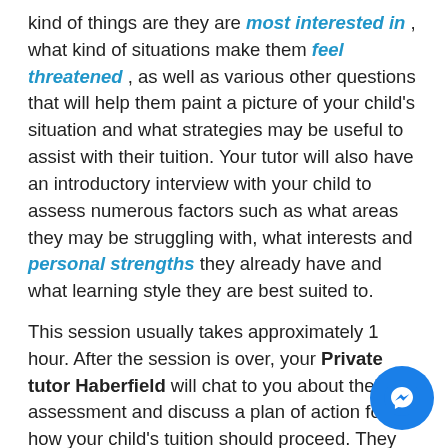kind of things are they are most interested in , what kind of situations make them feel threatened , as well as various other questions that will help them paint a picture of your child's situation and what strategies may be useful to assist with their tuition. Your tutor will also have an introductory interview with your child to assess numerous factors such as what areas they may be struggling with, what interests and personal strengths they already have and what learning style they are best suited to.

This session usually takes approximately 1 hour. After the session is over, your Private tutor Haberfield will chat to you about their assessment and discuss a plan of action for how your child's tuition should proceed. They will also be in contact with your child's school